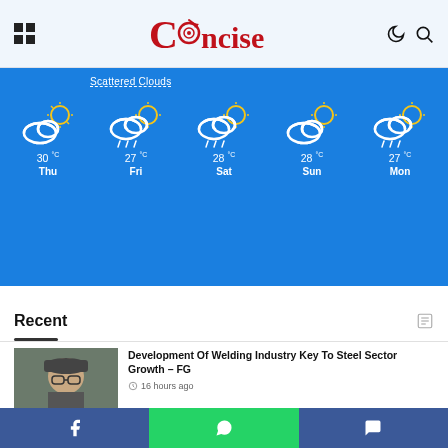Concise (logo) — navigation header with grid menu, moon/search icons
[Figure (infographic): 5-day weather forecast on blue background: Thu 30°C (partly cloudy), Fri 27°C (rain), Sat 28°C (rain), Sun 28°C (partly cloudy), Mon 27°C (rain). Header text: Scattered Clouds]
Recent
[Figure (photo): Photo of a man wearing a cap and glasses, holding a microphone]
Development Of Welding Industry Key To Steel Sector Growth – FG
16 hours ago
[Figure (photo): Thumbnail photo for second news article]
Actor Kenneth Okonkwo Joins Labour
Social share bar: Facebook, WhatsApp, Messenger